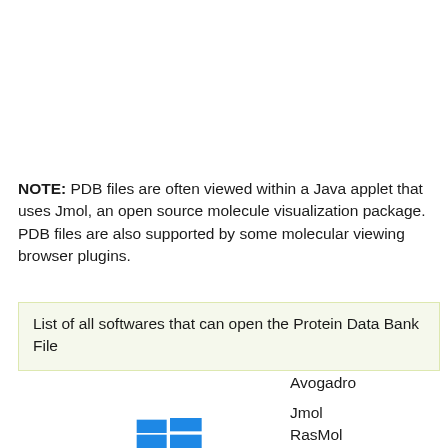NOTE: PDB files are often viewed within a Java applet that uses Jmol, an open source molecule visualization package. PDB files are also supported by some molecular viewing browser plugins.
List of all softwares that can open the Protein Data Bank File
Avogadro
Jmol
RasMol